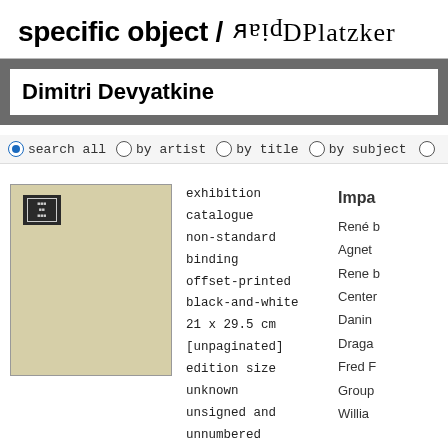specific object / ᴯlaeBDPlatzker
Dimitri Devyatkine
search all   by artist   by title   by subject
[Figure (photo): Thumbnail image of an exhibition catalogue with a dark stamp in the upper left corner on aged yellowed paper.]
exhibition catalogue
non-standard binding
offset-printed
black-and-white
21 x 29.5 cm
[unpaginated]
edition size unknown
unsigned and unnumbered
Impa
René b
Agnet
Rene b
Center
Danin
Draga
Fred F
Group
Willia